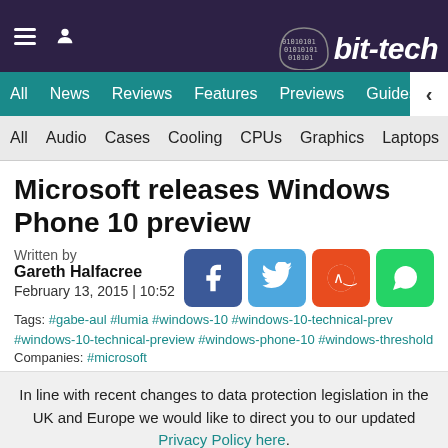bit-tech
All | News | Reviews | Features | Previews | Guides | B
All | Audio | Cases | Cooling | CPUs | Graphics | Laptops | M
Microsoft releases Windows Phone 10 preview
Written by
Gareth Halfacree
February 13, 2015 | 10:52
Tags: #gabe-aul #lumia #windows-10 #windows-10-technical-prev #windows-10-technical-preview #windows-phone-10 #windows-threshold
Companies: #microsoft
In line with recent changes to data protection legislation in the UK and Europe we would like to direct you to our updated Privacy Policy here.
Dismiss